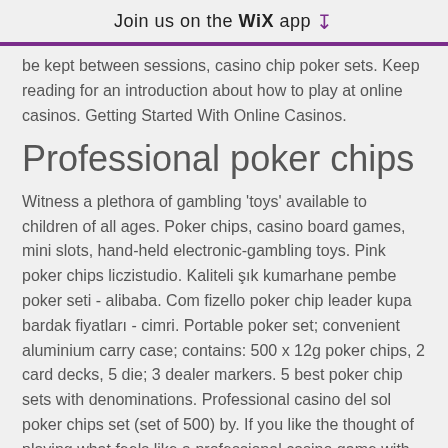Join us on the WiX app ↓
be kept between sessions, casino chip poker sets. Keep reading for an introduction about how to play at online casinos. Getting Started With Online Casinos.
Professional poker chips
Witness a plethora of gambling 'toys' available to children of all ages. Poker chips, casino board games, mini slots, hand-held electronic-gambling toys. Pink poker chips liczistudio. Kaliteli şık kumarhane pembe poker seti - alibaba. Com fizello poker chip leader kupa bardak fiyatları - cimri. Portable poker set; convenient aluminium carry case; contains: 500 x 12g poker chips, 2 card decks, 5 die; 3 dealer markers. 5 best poker chip sets with denominations. Professional casino del sol poker chips set (set of 500) by. If you like the thought of playing what feels like a professional casino game with friends